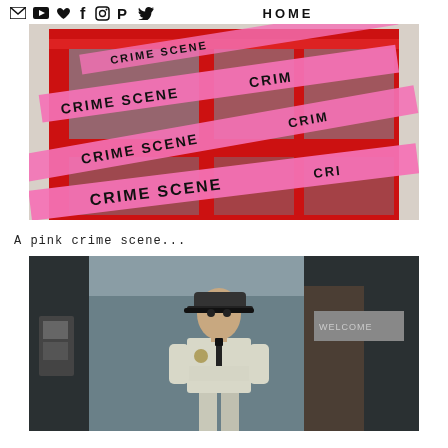HOME
[Figure (photo): A red British telephone box wrapped with pink 'CRIME SCENE' tape crossing diagonally across the booth.]
A pink crime scene...
[Figure (photo): A male security guard in uniform standing with arms crossed in front of a building entrance.]